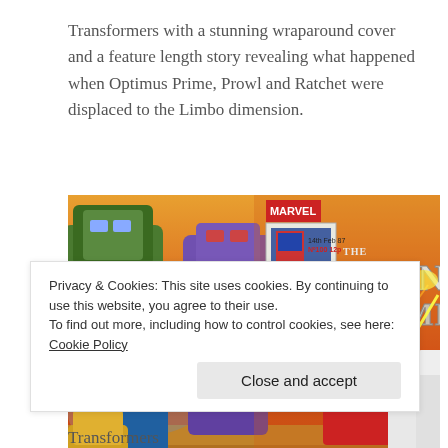Transformers with a stunning wraparound cover and a feature length story revealing what happened when Optimus Prime, Prowl and Ratchet were displaced to the Limbo dimension.
[Figure (illustration): Wraparound comic book cover of Marvel's The Transformers, No. 100, 14th Feb 87, 12p. Shows Transformers robots in action with orange/red background – left half shows Decepticons including large purple robot, right half shows Autobots including Optimus Prime. The Marvel logo and Transformers logo are visible on the right half cover.]
Privacy & Cookies: This site uses cookies. By continuing to use this website, you agree to their use.
To find out more, including how to control cookies, see here: Cookie Policy
Close and accept
Transformers